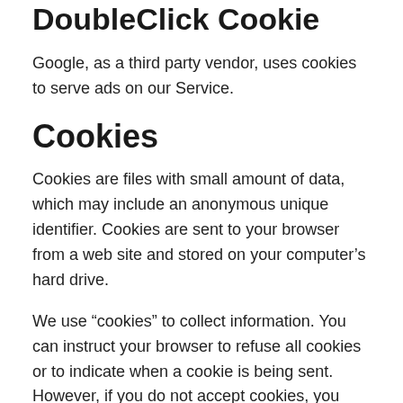DoubleClick Cookie
Google, as a third party vendor, uses cookies to serve ads on our Service.
Cookies
Cookies are files with small amount of data, which may include an anonymous unique identifier. Cookies are sent to your browser from a web site and stored on your computer's hard drive.
We use “cookies” to collect information. You can instruct your browser to refuse all cookies or to indicate when a cookie is being sent. However, if you do not accept cookies, you may not be able to use some portions of our Service.